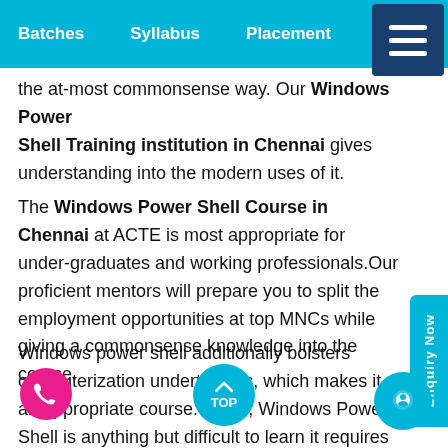Batches  Syllabus  Placement  La...
the at-most commonsense way. Our Windows PowerShell Training institution in Chennai gives understanding into the modern uses of it.
The Windows Power Shell Course in Chennai at ACTE is most appropriate for under-graduates and working professionals.Our proficient mentors will prepare you to split the employment opportunities at top MNCs while giving a commonsense knowledge into the course.
Windows power shell additionally bolsters computerization undertakings, which makes it an appropriate course. Since, Windows Power Shell is anything but difficult to learn it requires exceptionally negligible to zero degree of information to learn it our applicants discover the preparation generally valuable individuals who should be furnished with their own understudy login and learning